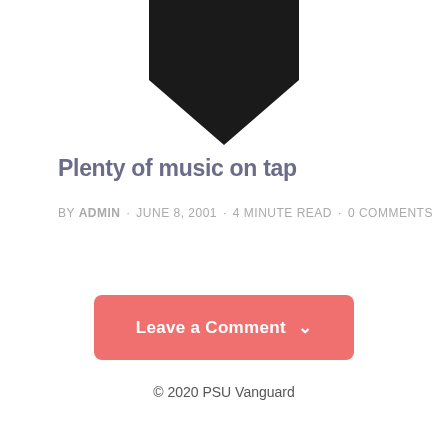[Figure (illustration): Black heart/bookmark icon pointing downward, partially cut off at top of page]
Plenty of music on tap
by ADMIN · JUNE 8, 2001 · 4 MINUTE READ · 0 COMMENTS
[Figure (other): Pink rounded button with text 'Leave a Comment' and a downward chevron arrow]
© 2020 PSU Vanguard